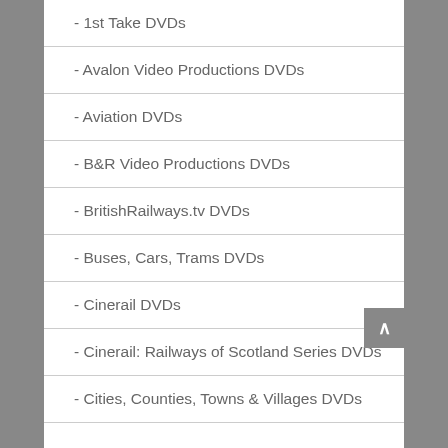- 1st Take DVDs
- Avalon Video Productions DVDs
- Aviation DVDs
- B&R Video Productions DVDs
- BritishRailways.tv DVDs
- Buses, Cars, Trams DVDs
- Cinerail DVDs
- Cinerail: Railways of Scotland Series DVDs
- Cities, Counties, Towns & Villages DVDs